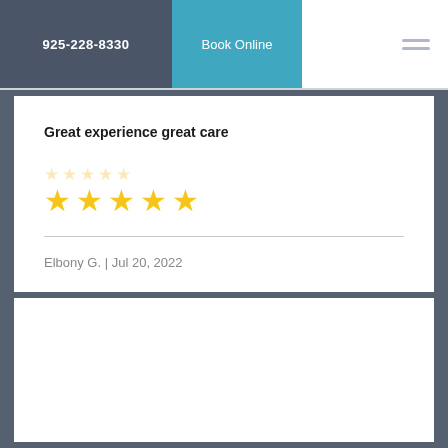925-228-8330 | Book Online
Great experience great care
★★★★★ (5 stars)
Elbony G. | Jul 20, 2022